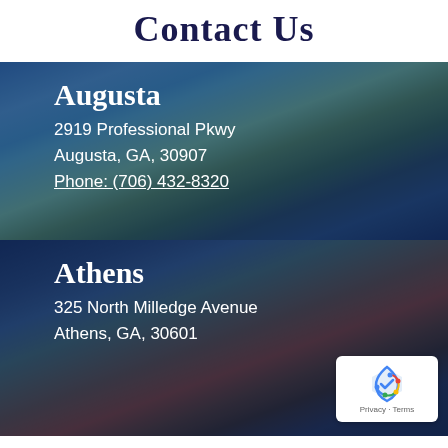Contact Us
Augusta
2919 Professional Pkwy
Augusta, GA, 30907
Phone: (706) 432-8320
Athens
325 North Milledge Avenue
Athens, GA, 30601